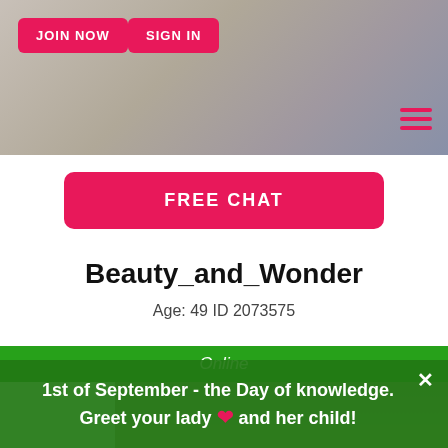[Figure (screenshot): Top banner area with grey/blue background (partial profile photo)]
JOIN NOW
SIGN IN
[Figure (other): Hamburger menu icon (3 horizontal red lines)]
FREE CHAT
Beauty_and_Wonder
Age: 49 ID 2073575
Online
[Figure (photo): Profile photo of a woman with long brown hair, smiling, photographed close-up with green background behind]
1st of September - the Day of knowledge. Greet your lady ❤ and her child!